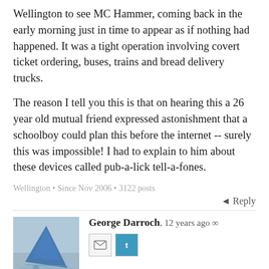Wellington to see MC Hammer, coming back in the early morning just in time to appear as if nothing had happened. It was a tight operation involving covert ticket ordering, buses, trains and bread delivery trucks.
The reason I tell you this is that on hearing this a 26 year old mutual friend expressed astonishment that a schoolboy could plan this before the internet -- surely this was impossible! I had to explain to him about these devices called pub-a-lick tell-a-fones.
Wellington • Since Nov 2006 • 3122 posts
Reply
George Darroch, 12 years ago ∞
Yes, and, as you mention in your later comment, those who only know the internet era will never understand the kind of social and informational isolation that many of us experienced in the pre-internet era (which sounds kind of mauidlin, but I